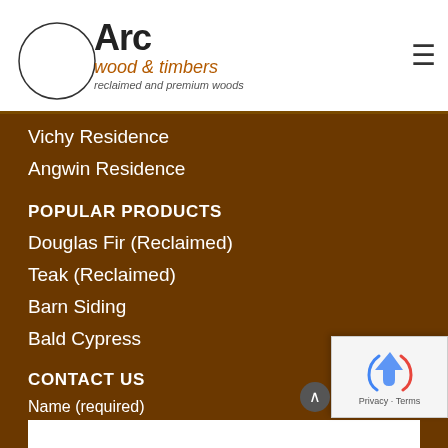Arc wood & timbers — reclaimed and premium woods
Vichy Residence
Angwin Residence
POPULAR PRODUCTS
Douglas Fir (Reclaimed)
Teak (Reclaimed)
Barn Siding
Bald Cypress
CONTACT US
Name (required)
Email (required)